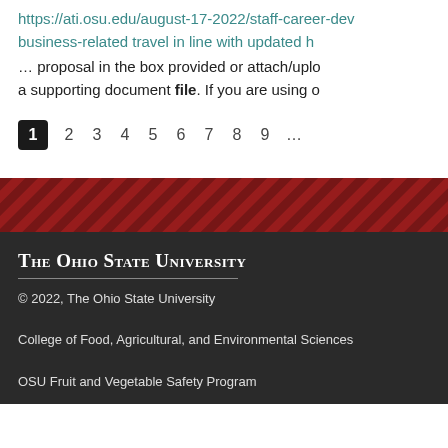https://ati.osu.edu/august-17-2022/staff-career-dev... business-related travel in line with updated h...
... proposal in the box provided or attach/uplo... a supporting document file. If you are using o...
1  2  3  4  5  6  7  8  9  ...
[Figure (illustration): Diagonal red and dark red striped banner divider]
The Ohio State University
© 2022, The Ohio State University
College of Food, Agricultural, and Environmental Sciences
OSU Fruit and Vegetable Safety Program